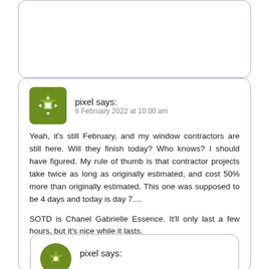[Figure (other): Top comment card partially visible, showing rounded border card with no visible content]
pixel says:
8 February 2022 at 10:00 am
Yeah, it's still February, and my window contractors are still here. Will they finish today? Who knows? I should have figured. My rule of thumb is that contractor projects take twice as long as originally estimated, and cost 50% more than originally estimated. This one was supposed to be 4 days and today is day 7....

SOTD is Chanel Gabrielle Essence. It'll only last a few hours, but it's nice while it lasts.
Log in to Reply
pixel says: